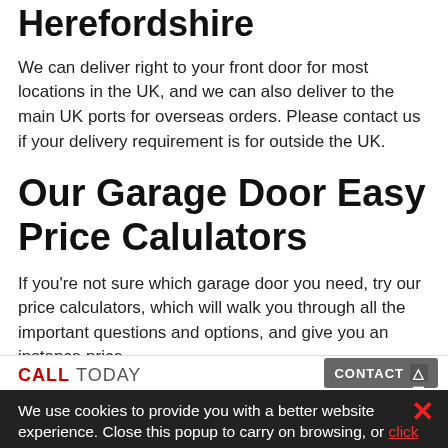Herefordshire
We can deliver right to your front door for most locations in the UK, and we can also deliver to the main UK ports for overseas orders. Please contact us if your delivery requirement is for outside the UK.
Our Garage Door Easy Price Calulators
If you're not sure which garage door you need, try our price calculators, which will walk you through all the important questions and options, and give you an instance price.
CALL TODAY
CONTACT
We use cookies to provide you with a better website experience. Close this popup to carry on browsing, or click here to find out more about cookies